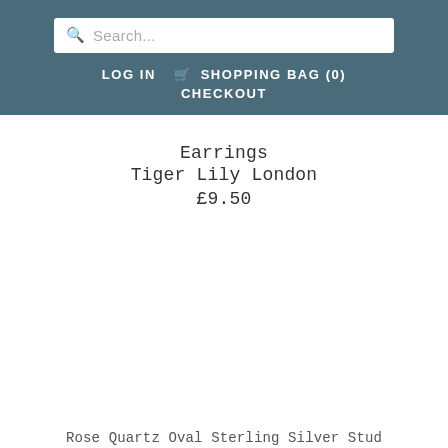Search...
LOG IN   SHOPPING BAG (0)   CHECKOUT
Earrings
Tiger Lily London
£9.50
Rose Quartz Oval Sterling Silver Stud